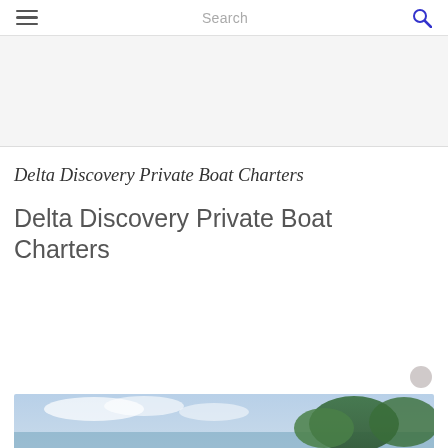☰ Search 🔍
[Figure (other): Advertisement / blank area below header]
Delta Discovery Private Boat Charters
Delta Discovery Private Boat Charters
[Figure (photo): Outdoor nature photo showing sky with clouds and trees along a waterway]